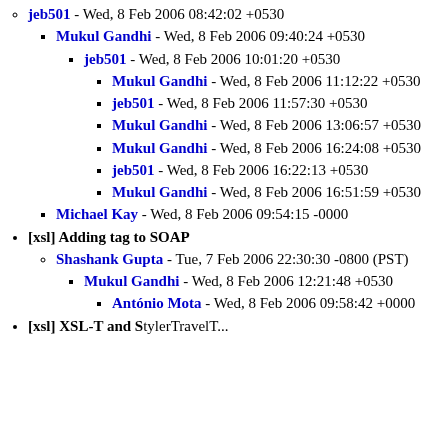jeb501 - Wed, 8 Feb 2006 08:42:02 +0530
Mukul Gandhi - Wed, 8 Feb 2006 09:40:24 +0530
jeb501 - Wed, 8 Feb 2006 10:01:20 +0530
Mukul Gandhi - Wed, 8 Feb 2006 11:12:22 +0530
jeb501 - Wed, 8 Feb 2006 11:57:30 +0530
Mukul Gandhi - Wed, 8 Feb 2006 13:06:57 +0530
Mukul Gandhi - Wed, 8 Feb 2006 16:24:08 +0530
jeb501 - Wed, 8 Feb 2006 16:22:13 +0530
Mukul Gandhi - Wed, 8 Feb 2006 16:51:59 +0530
Michael Kay - Wed, 8 Feb 2006 09:54:15 -0000
[xsl] Adding tag to SOAP
Shashank Gupta - Tue, 7 Feb 2006 22:30:30 -0800 (PST)
Mukul Gandhi - Wed, 8 Feb 2006 12:21:48 +0530
António Mota - Wed, 8 Feb 2006 09:58:42 +0000
[xsl] XSL-T and StylerTravelT...